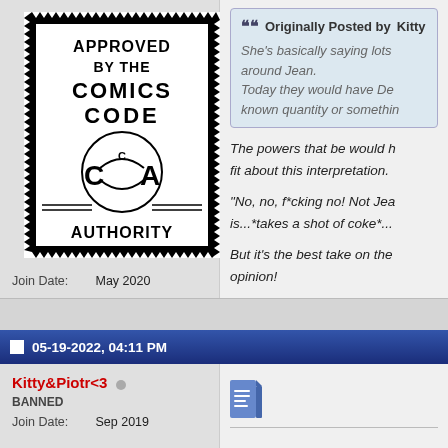[Figure (logo): Comics Code Authority approval stamp — black and white stamp with zigzag border reading APPROVED BY THE COMICS CODE AUTHORITY with CCA logo]
Join Date: May 2020
Location: New York City
Posts: 1,633
Originally Posted by Kitty
She's basically saying lots [of text cut off] around Jean.
Today they would have De[s...] known quantity or somethin[g...]
The powers that be would [have a] fit about this interpretation.
"No, no, f*cking no! Not Jea[n...] is...*takes a shot of coke*...
But it's the best take on the[...] opinion!
But, wouldn't that reveal Ga[...cut off]
05-19-2022, 04:11 PM
Kitty&Piotr<3
BANNED
Join Date: Sep 2019